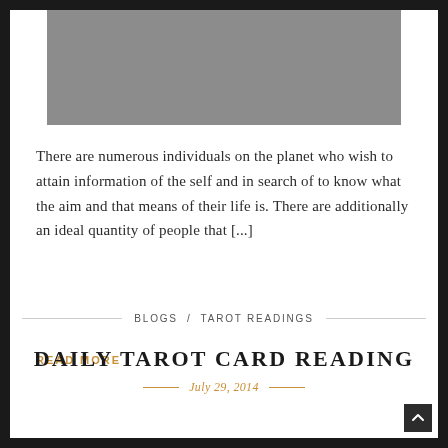[Figure (photo): Gray placeholder image at the top of the blog post]
There are numerous individuals on the planet who wish to attain information of the self and in search of to know what the aim and that means of their life is. There are additionally an ideal quantity of people that [...]
READ MORE
BLOGS / TAROT READINGS
DAILY TAROT CARD READING
July 29, 2014